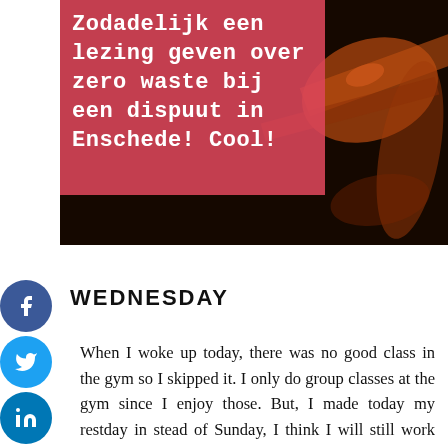[Figure (photo): A dark photo of a wooden spoon against a dark background, with a pink/red overlay box containing white monospace text in Dutch: 'Zodadelijk een lezing geven over zero waste bij een dispuut in Enschede! Cool!']
WEDNESDAY
When I woke up today, there was no good class in the gym so I skipped it. I only do group classes at the gym since I enjoy those. But, I made today my restday in stead of Sunday, I think I will still work out 6 times this week though. I worked on my thesis and did some